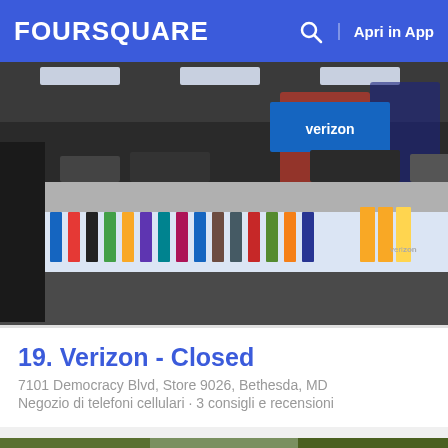FOURSQUARE  Apri in App
[Figure (photo): Interior photo of a Verizon store showing display counters with phones and accessories, shopping mall setting]
19. Verizon - Closed
7101 Democracy Blvd, Store 9026, Bethesda, MD
Negozio di telefoni cellulari · 3 consigli e recensioni
[Figure (photo): Interior photo of a liquor store showing shelves stocked with wine and spirit bottles]